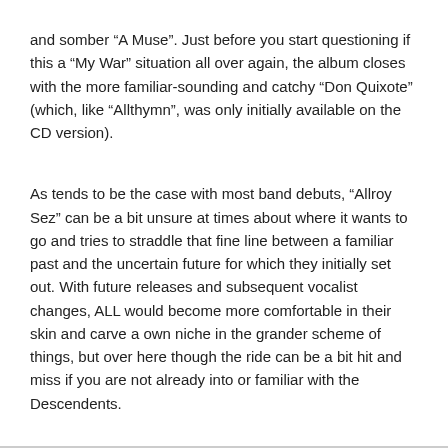and somber “A Muse”. Just before you start questioning if this a “My War” situation all over again, the album closes with the more familiar-sounding and catchy “Don Quixote” (which, like “Allthymn”, was only initially available on the CD version).
As tends to be the case with most band debuts, “Allroy Sez” can be a bit unsure at times about where it wants to go and tries to straddle that fine line between a familiar past and the uncertain future for which they initially set out. With future releases and subsequent vocalist changes, ALL would become more comfortable in their skin and carve a own niche in the grander scheme of things, but over here though the ride can be a bit hit and miss if you are not already into or familiar with the Descendents.